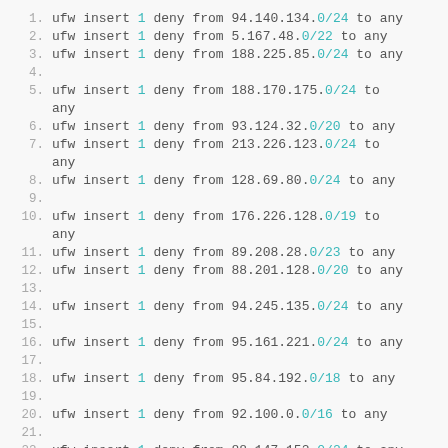1.  ufw insert 1 deny from 94.140.134.0/24 to any
2.  ufw insert 1 deny from 5.167.48.0/22 to any
3.  ufw insert 1 deny from 188.225.85.0/24 to any
4.
5.  ufw insert 1 deny from 188.170.175.0/24 to any
6.  ufw insert 1 deny from 93.124.32.0/20 to any
7.  ufw insert 1 deny from 213.226.123.0/24 to any
8.  ufw insert 1 deny from 128.69.80.0/24 to any
9.
10. ufw insert 1 deny from 176.226.128.0/19 to any
11. ufw insert 1 deny from 89.208.28.0/23 to any
12. ufw insert 1 deny from 88.201.128.0/20 to any
13.
14. ufw insert 1 deny from 94.245.135.0/24 to any
15.
16. ufw insert 1 deny from 95.161.221.0/24 to any
17.
18. ufw insert 1 deny from 95.84.192.0/18 to any
19.
20. ufw insert 1 deny from 92.100.0.0/16 to any
21.
22. ufw insert 1 deny from 88.147.152.0/24 to any
23.
24. ufw insert 1 deny from 194.190.170.0/24 to any (partial)